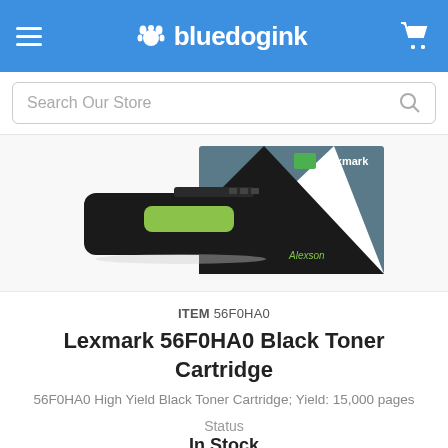bluedogink
Search Our Store
[Figure (photo): Lexmark 56F0HA0 black toner cartridge product photo with Lexmark branded box]
ITEM 56F0HA0
Lexmark 56F0HA0 Black Toner Cartridge
56F0HA0 High Yield Black Toner Cartridge; Yield: 15,000 pages
Status
In Stock
Free Shipping